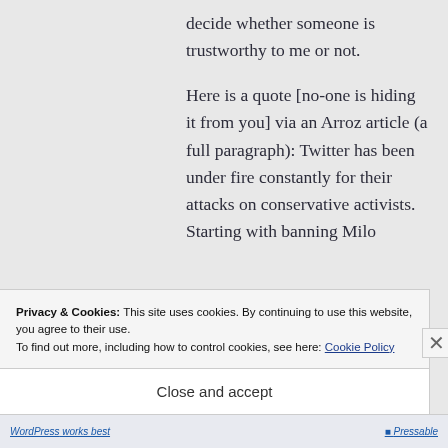decide whether someone is trustworthy to me or not.

Here is a quote [no-one is hiding it from you] via an Arroz article (a full paragraph): Twitter has been under fire constantly for their attacks on conservative activists. Starting with banning Milo
Privacy & Cookies: This site uses cookies. By continuing to use this website, you agree to their use.
To find out more, including how to control cookies, see here: Cookie Policy
Close and accept
WordPress works best  |  Pressable